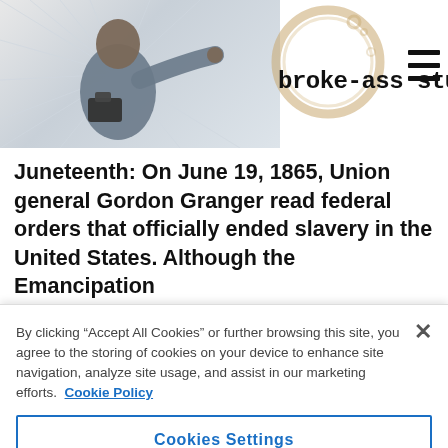broke-ass stuart
Juneteenth: On June 19, 1865, Union general Gordon Granger read federal orders that officially ended slavery in the United States. Although the Emancipation
By clicking “Accept All Cookies” or further browsing this site, you agree to the storing of cookies on your device to enhance site navigation, analyze site usage, and assist in our marketing efforts. Cookie Policy
Cookies Settings
Reject All
Accept All Cookies